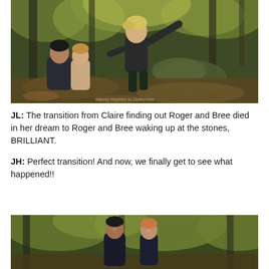[Figure (photo): A scene from Outlander TV show in a forest. A young blonde child with arms outstretched is in the foreground, while a man and woman are visible behind/below the child among trees and rocks with autumn foliage.]
JL: The transition from Claire finding out Roger and Bree died in her dream to Roger and Bree waking up at the stones, BRILLIANT.
JH: Perfect transition! And now, we finally get to see what happened!!
[Figure (photo): A scene from Outlander TV show in a forest. A man and a woman stand among trees, looking upward or into the distance, surrounded by autumn foliage.]